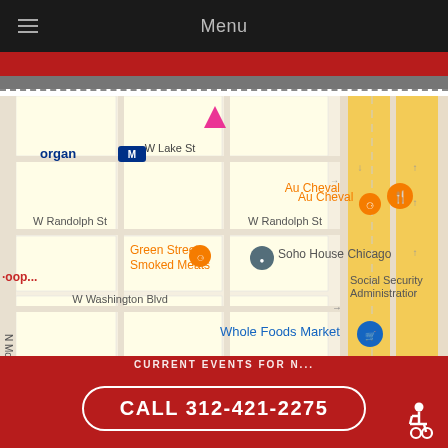Menu
[Figure (map): Google Maps screenshot showing Chicago neighborhood around W Randolph St, W Lake St, W Washington Blvd, N Morgan St. Landmarks visible: Au Cheval restaurant, Green Street Smoked Meats, Soho House Chicago, Whole Foods Market, Social Security Administration, Morgan M (CTA Blue Line station). Yellow highway lanes visible on right side (I-90).]
CALL 312-421-2275